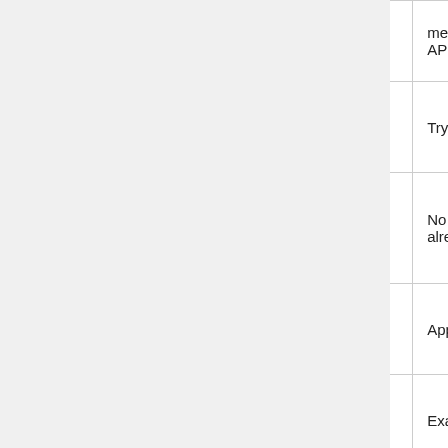| Domain | Date | Notes |
| --- | --- | --- |
|  |  | message… API/Book… |
| b.link | 2018-12-26 | Trying t… |
| BTC.ms | 2018-12-17 | No Login… alread… |
| budurl.com | 2015-12-06 | Appears… |
| buzurl.com | 2015-12-19 | Examp… |
| canurl.com | 2016-01-02 | Contains… |
| cl.ly | 2016-09-17 |  |
| clicky.me | 2016-07-13 | Require… links; HE… |